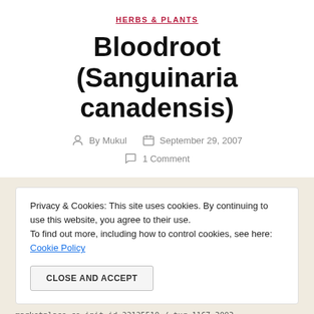HERBS & PLANTS
Bloodroot (Sanguinaria canadensis)
By Mukul   September 29, 2007
1 Comment
Privacy & Cookies: This site uses cookies. By continuing to use this website, you agree to their use. To find out more, including how to control cookies, see here: Cookie Policy
CLOSE AND ACCEPT
marketplace   co_init_id   22125510 / tur 1167 3003 592229_1-2f_f11